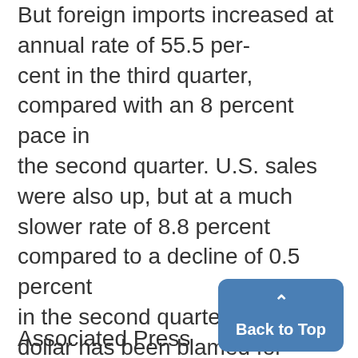But foreign imports increased at annual rate of 55.5 per-cent in the third quarter, compared with an 8 percent pace in the second quarter. U.S. sales were also up, but at a much slower rate of 8.8 percent compared to a decline of 0.5 percent in the second quarter. The high dollar has been blamed for what will be the country's worst trading year in history.
Associated Press